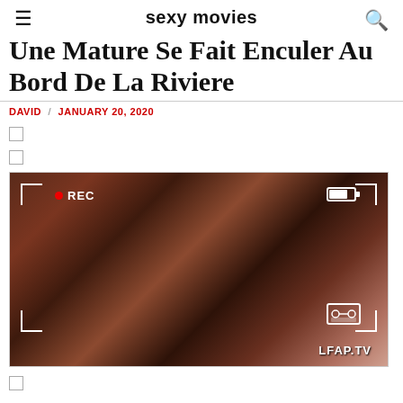sexy movies
Une Mature Se Fait Enculer Au Bord De La Riviere
DAVID / JANUARY 20, 2020
[Figure (screenshot): Video screenshot showing close-up adult content with REC indicator, battery icon, cassette icon, corner brackets, and LFAP.TV watermark]